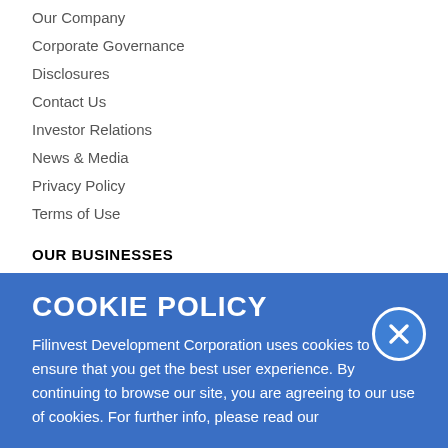Our Company
Corporate Governance
Disclosures
Contact Us
Investor Relations
News & Media
Privacy Policy
Terms of Use
OUR BUSINESSES
Property
Banking and Financial Services
Power
Sugar
Infrastructure
COOKIE POLICY
Filinvest Development Corporation uses cookies to ensure that you get the best user experience. By continuing to browse our site, you are agreeing to our use of cookies. For further info, please read our